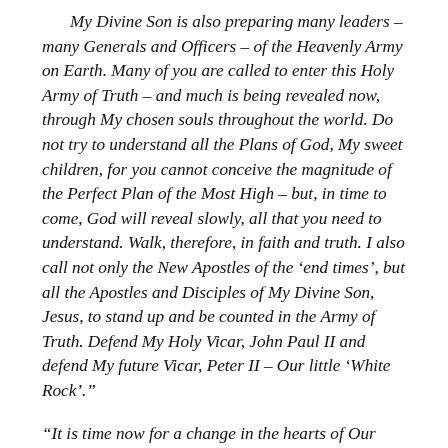My Divine Son is also preparing many leaders – many Generals and Officers – of the Heavenly Army on Earth. Many of you are called to enter this Holy Army of Truth – and much is being revealed now, through My chosen souls throughout the world. Do not try to understand all the Plans of God, My sweet children, for you cannot conceive the magnitude of the Perfect Plan of the Most High – but, in time to come, God will reveal slowly, all that you need to understand. Walk, therefore, in faith and truth. I also call not only the New Apostles of the 'end times', but all the Apostles and Disciples of My Divine Son, Jesus, to stand up and be counted in the Army of Truth. Defend My Holy Vicar, John Paul II and defend My future Vicar, Peter II – Our little 'White Rock'."
"It is time now for a change in the hearts of Our children, for time is running out, and we must fear…